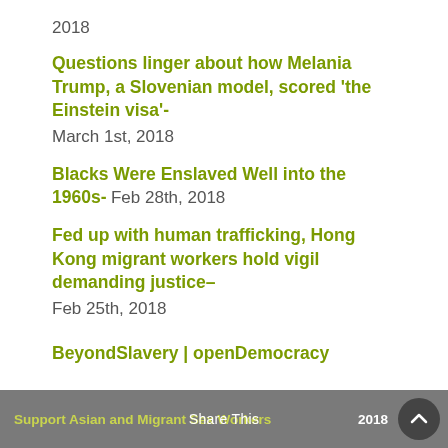2018
Questions linger about how Melania Trump, a Slovenian model, scored ‘the Einstein visa’- March 1st, 2018
Blacks Were Enslaved Well into the 1960s- Feb 28th, 2018
Fed up with human trafficking, Hong Kong migrant workers hold vigil demanding justice– Feb 25th, 2018
BeyondSlavery | openDemocracy
Support Asian and Migrant Sex Workers  2018